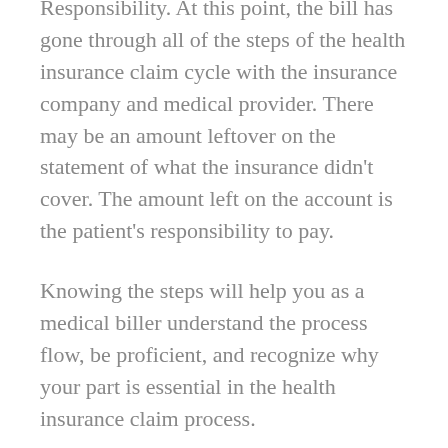Responsibility. At this point, the bill has gone through all of the steps of the health insurance claim cycle with the insurance company and medical provider. There may be an amount leftover on the statement of what the insurance didn't cover. The amount left on the account is the patient's responsibility to pay.
Knowing the steps will help you as a medical biller understand the process flow, be proficient, and recognize why your part is essential in the health insurance claim process.